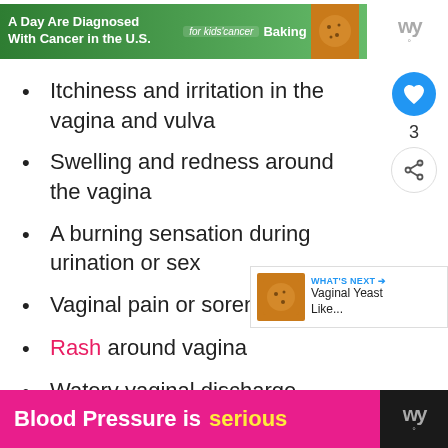[Figure (screenshot): Top advertisement banner for kids cancer awareness with cookie/baking imagery]
Itchiness and irritation in the vagina and vulva
Swelling and redness around the vagina
A burning sensation during urination or sex
Vaginal pain or soreness
Rash around vagina
Watery vaginal discharge
Thick, white, odor-free vaginal
[Figure (screenshot): What's Next callout: Vaginal Yeast Like...]
[Figure (screenshot): Bottom advertisement banner: Blood Pressure is serious]